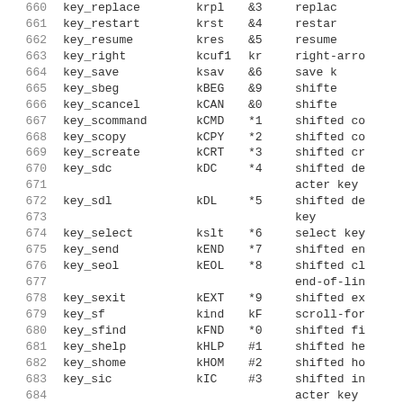| # | name | code | cap | description |
| --- | --- | --- | --- | --- |
| 660 | key_replace | krpl | &amp;3 | replac... |
| 661 | key_restart | krst | &amp;4 | restar... |
| 662 | key_resume | kres | &amp;5 | resume... |
| 663 | key_right | kcuf1 | kr | right-arro... |
| 664 | key_save | ksav | &amp;6 | save k... |
| 665 | key_sbeg | kBEG | &amp;9 | shifte... |
| 666 | key_scancel | kCAN | &amp;0 | shifte... |
| 667 | key_scommand | kCMD | *1 | shifted co... |
| 668 | key_scopy | kCPY | *2 | shifted co... |
| 669 | key_screate | kCRT | *3 | shifted cr... |
| 670 | key_sdc | kDC | *4 | shifted de... |
| 671 |  |  |  | acter key |
| 672 | key_sdl | kDL | *5 | shifted de... |
| 673 |  |  |  | key |
| 674 | key_select | kslt | *6 | select key... |
| 675 | key_send | kEND | *7 | shifted en... |
| 676 | key_seol | kEOL | *8 | shifted cl... |
| 677 |  |  |  | end-of-lin... |
| 678 | key_sexit | kEXT | *9 | shifted ex... |
| 679 | key_sf | kind | kF | scroll-fo... |
| 680 | key_sfind | kFND | *0 | shifted fi... |
| 681 | key_shelp | kHLP | #1 | shifted he... |
| 682 | key_shome | kHOM | #2 | shifted ho... |
| 683 | key_sic | kIC | #3 | shifted in... |
| 684 |  |  |  | acter key |
| 685 | key_sleft | kLFT | #4 | shifted le... |
| 686 |  |  |  | key |
| 687 | key_smessage | kMSG | %a | shifted me... |
| 688 | key_smove | kMOV | %b | shifted mo... |
| 689 | key_snext | kNXT | %c | shifted ne... |
| 690 | key_soptions | kOPT | %d | shifted op... |
| 691 | key_sprevious | kPRV | %e | shifted p... |